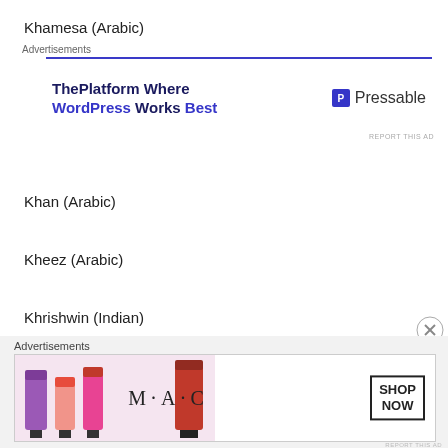Khamesa (Arabic)
[Figure (other): Advertisement banner for Pressable WordPress hosting with text 'ThePlatform Where WordPress Works Best' and Pressable logo]
Khan (Arabic)
Kheez (Arabic)
Khrishwin (Indian)
Kingi (Maori)
Kiva (Hebrew)
[Figure (other): Advertisement banner for MAC cosmetics showing lipsticks with 'SHOP NOW' call to action button]